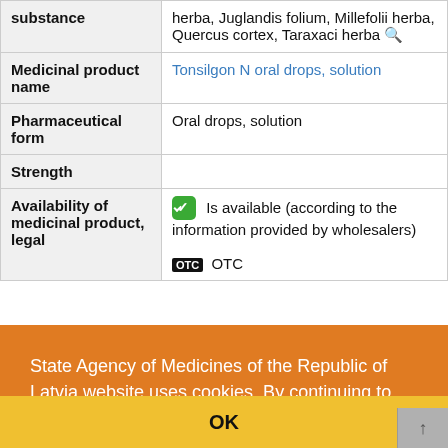| Field | Value |
| --- | --- |
| substance | herba, Juglandis folium, Millefolii herba, Quercus cortex, Taraxaci herba 🔍 |
| Medicinal product name | Tonsilgon N oral drops, solution |
| Pharmaceutical form | Oral drops, solution |
| Strength |  |
| Availability of medicinal product, legal | ✓ Is available (according to the information provided by wholesalers)
OTC OTC |
State Agency of Medicines of the Republic of Latvia website uses cookies. By continuing to use this website you agree to the usage of cookies. Read more (in Latvian)
OK
Iepakojumiem